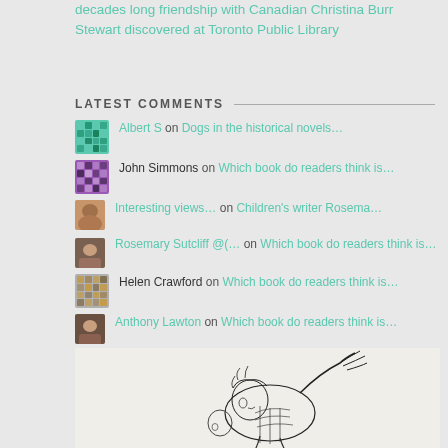decades long friendship with Canadian Christina Burr Stewart discovered at Toronto Public Library
LATEST COMMENTS
Albert S on Dogs in the historical novels…
John Simmons on Which book do readers think is…
Interesting views… on Children's writer Rosema…
Rosemary Sutcliff @(… on Which book do readers think is…
Helen Crawford on Which book do readers think is…
Anthony Lawton on Which book do readers think is…
Anthony Lawton on Which book do readers think is…
[Figure (illustration): Ink drawing of a hunched creature with visible anatomy and raised claw-like hand]